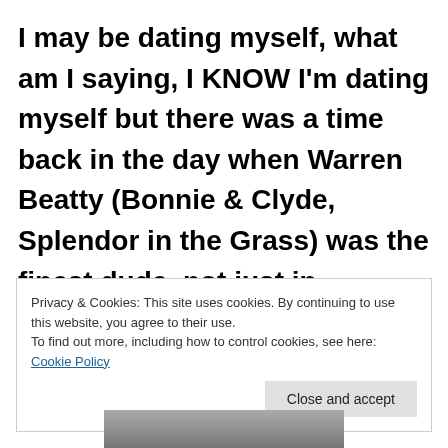I may be dating myself, what am I saying, I KNOW I'm dating myself but there was a time back in the day when Warren Beatty (Bonnie & Clyde, Splendor in the Grass) was the finest dude, not just in Hollywood but dare I say the planet!
Privacy & Cookies: This site uses cookies. By continuing to use this website, you agree to their use. To find out more, including how to control cookies, see here: Cookie Policy
[Figure (photo): Partial photo of a person visible at the bottom of the page]